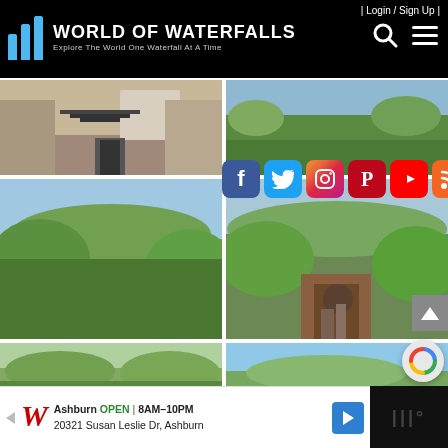| Login / Sign Up |
[Figure (logo): World of Waterfalls logo with blue bar icon and text: Explore The World One Waterfall At A Time]
[Figure (infographic): Social media icons row: Facebook, Twitter, Instagram, Pinterest, YouTube, RSS]
[Figure (photo): Road leading to building with rocky terrain]
[Figure (photo): Green forested canyon landscape]
[Figure (photo): Green forested hills with person on wooden bridge/rails]
[Figure (photo): Green treetop landscape partial view]
[Figure (photo): Sky and trees partial view]
[Figure (screenshot): Advertisement: Walgreens Ashburn OPEN 8AM-10PM, 20321 Susan Leslie Dr, Ashburn]